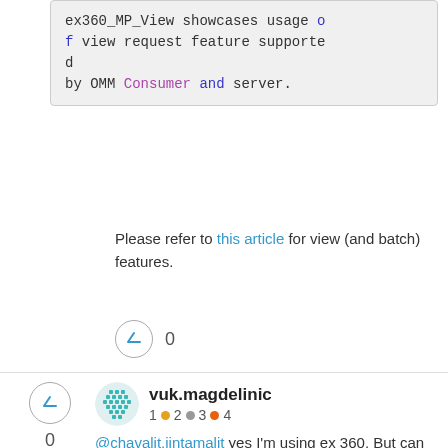[Figure (screenshot): Code block showing: ex360_MP_View showcases usage of view request feature supported by OMM Consumer and server.]
Please refer to this article for view (and batch) features.
[Figure (other): Upvote button with count 0]
@chavalit.jintamalit yes I'm using ex 360. But can you tell me when the refresh/update happens then do we get all the values/fields that we specified in the view or just the updated fields out of those?

For ex - I subscribe to Ask, Bid and Display
vuk.magdelinic — 1 • 2 • 3 • 4 — 0 Upvotes